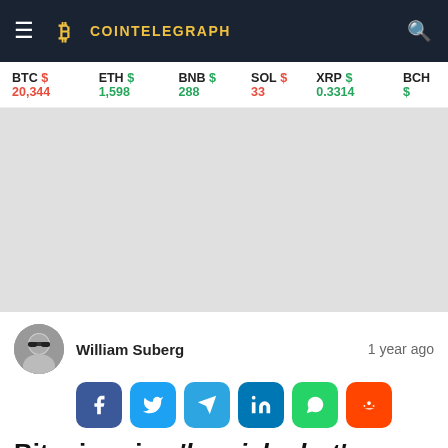Cointelegraph
BTC $ 20,344  ETH $ 1,598  BNB $ 288  SOL $ 33  XRP $ 0.3314  BCH $
[Figure (other): Advertisement / blank gray area]
William Suberg  1 year ago
[Figure (other): Social share buttons: Facebook, Twitter, Telegram, LinkedIn, WhatsApp, Reddit]
Bitcoin price 'bearish alert' as 140K ... first time